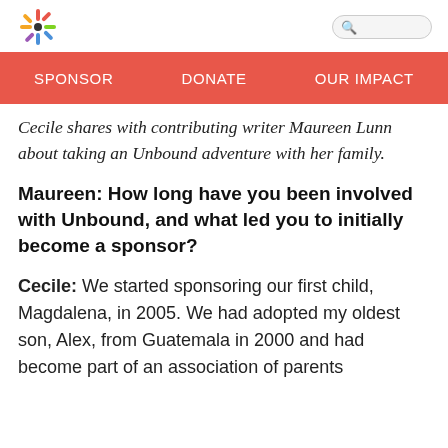[Unbound logo] [Search bar]
SPONSOR   DONATE   OUR IMPACT
Cecile shares with contributing writer Maureen Lunn about taking an Unbound adventure with her family.
Maureen: How long have you been involved with Unbound, and what led you to initially become a sponsor?
Cecile: We started sponsoring our first child, Magdalena, in 2005. We had adopted my oldest son, Alex, from Guatemala in 2000 and had become part of an association of parents